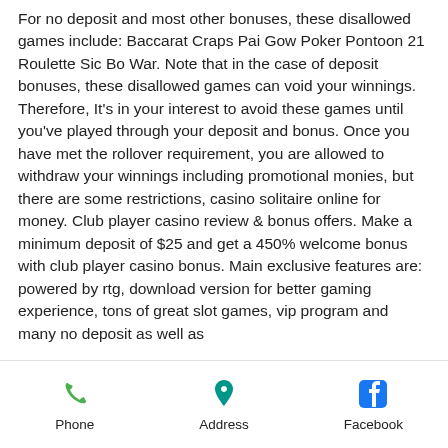For no deposit and most other bonuses, these disallowed games include: Baccarat Craps Pai Gow Poker Pontoon 21 Roulette Sic Bo War. Note that in the case of deposit bonuses, these disallowed games can void your winnings. Therefore, It's in your interest to avoid these games until you've played through your deposit and bonus. Once you have met the rollover requirement, you are allowed to withdraw your winnings including promotional monies, but there are some restrictions, casino solitaire online for money. Club player casino review &amp; bonus offers. Make a minimum deposit of $25 and get a 450% welcome bonus with club player casino bonus. Main exclusive features are: powered by rtg, download version for better gaming experience, tons of great slot games, vip program and many no deposit as well as
Phone  Address  Facebook